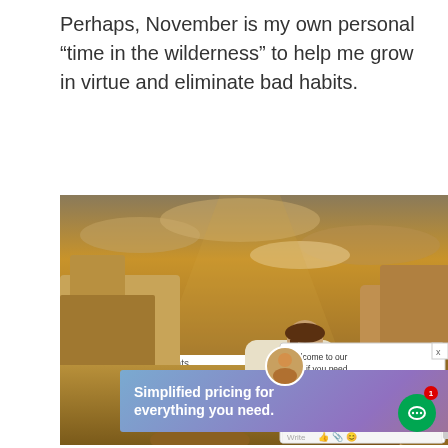Perhaps, November is my own personal “time in the wilderness” to help me grow in virtue and eliminate bad habits.
[Figure (illustration): Religious painting of Jesus kneeling in prayer in a rocky wilderness landscape under a dramatic golden-clouded sky. He wears white robes and sandals, hands clasped, head bowed in prayer. A chat popup overlay on the right side reads: 'Welcome to our site, if you need help simply reply to this message, we are online and ready to help.' with a close button (x) and a text input bar with icons.]
Advertisements
[Figure (screenshot): WordPress.com advertisement banner with gradient purple-orange background. Text reads: 'Simplified pricing for everything you need.' with WordPress.com logo on the right.]